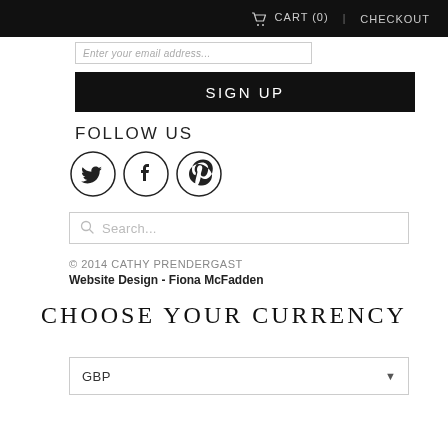CART (0)   CHECKOUT
Enter your email address...
SIGN UP
FOLLOW US
[Figure (illustration): Three social media icons in circles: Twitter (bird), Facebook (f), Pinterest (p)]
Search...
© 2014 CATHY PRENDERGAST
Website Design - Fiona McFadden
CHOOSE YOUR CURRENCY
GBP